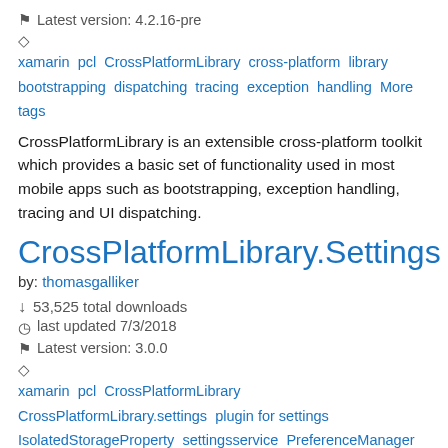Latest version: 4.2.16-pre
xamarin pcl CrossPlatformLibrary cross-platform library bootstrapping dispatching tracing exception handling More tags
CrossPlatformLibrary is an extensible cross-platform toolkit which provides a basic set of functionality used in most mobile apps such as bootstrapping, exception handling, tracing and UI dispatching.
CrossPlatformLibrary.Settings
by: thomasgalliker
53,525 total downloads
last updated 7/3/2018
Latest version: 3.0.0
xamarin pcl CrossPlatformLibrary CrossPlatformLibrary.settings plugin for settings IsolatedStorageProperty settingsservice PreferenceManager More tags
CrossPlatformLibrary.Settings is a plug-in for reading and writing of platform-independent application settings.